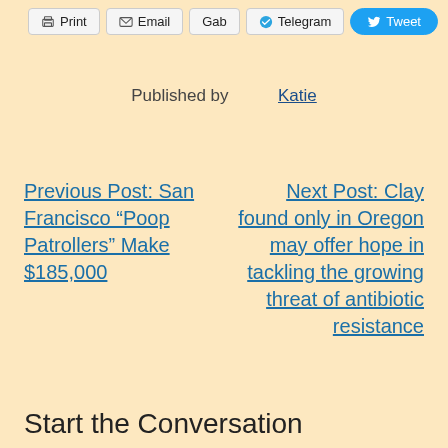Print | Email | Gab | Telegram | Tweet
Published by Katie
Previous Post: San Francisco “Poop Patrollers” Make $185,000
Next Post: Clay found only in Oregon may offer hope in tackling the growing threat of antibiotic resistance
Start the Conversation